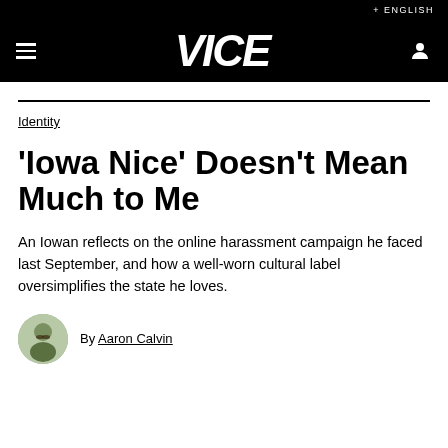+ ENGLISH
[Figure (logo): VICE website navigation bar with hamburger menu icon, VICE logo in white italic bold font, and user account icon on black background]
Identity
‘Iowa Nice’ Doesn’t Mean Much to Me
An Iowan reflects on the online harassment campaign he faced last September, and how a well-worn cultural label oversimplifies the state he loves.
By Aaron Calvin